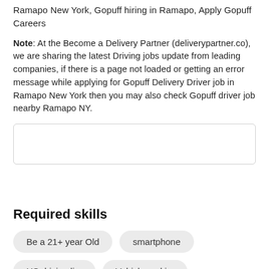Ramapo New York, Gopuff hiring in Ramapo, Apply Gopuff Careers
Note: At the Become a Delivery Partner (deliverypartner.co), we are sharing the latest Driving jobs update from leading companies, if there is a page not loaded or getting an error message while applying for Gopuff Delivery Driver job in Ramapo New York then you may also check Gopuff driver job nearby Ramapo NY.
[Figure (other): Empty widget box / form area with light border]
Required skills
Be a 21+ year Old
smartphone
US driving license
Vehicle and insurance